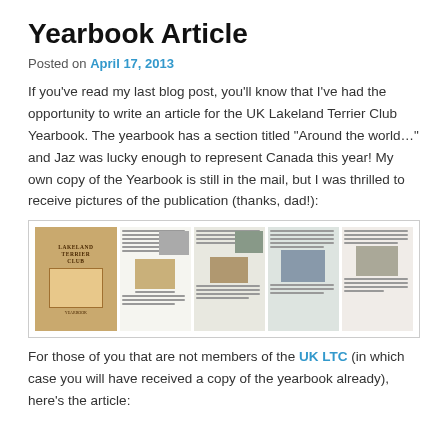Yearbook Article
Posted on April 17, 2013
If you've read my last blog post, you'll know that I've had the opportunity to write an article for the UK Lakeland Terrier Club Yearbook. The yearbook has a section titled "Around the world…" and Jaz was lucky enough to represent Canada this year! My own copy of the Yearbook is still in the mail, but I was thrilled to receive pictures of the publication (thanks, dad!):
[Figure (photo): A composite image showing five panels: the Lakeland Terrier Club Yearbook cover held in a hand, and four pages of the yearbook showing text and photographs of dogs and people.]
For those of you that are not members of the UK LTC (in which case you will have received a copy of the yearbook already), here's the article: